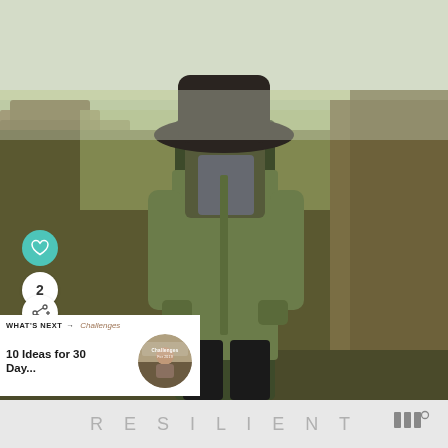[Figure (photo): Person seen from behind, wearing a dark wide-brim hat, gray hoodie, and olive/khaki jacket with hands in pockets, standing on an elevated viewpoint overlooking a wide landscape of fields and trees under an overcast sky.]
[Figure (infographic): Teal circular heart/like button icon on left side of image]
2
[Figure (infographic): White circular share button with share icon and plus symbol]
WHAT'S NEXT →
10 Ideas for 30 Day...
[Figure (photo): Small circular thumbnail photo for the 'What's Next' preview with a person and decorative text overlay reading 'Challenges For 2019']
R E S I L I E N T
[Figure (logo): Three vertical bars logo followed by a degree symbol, representing a brand mark]